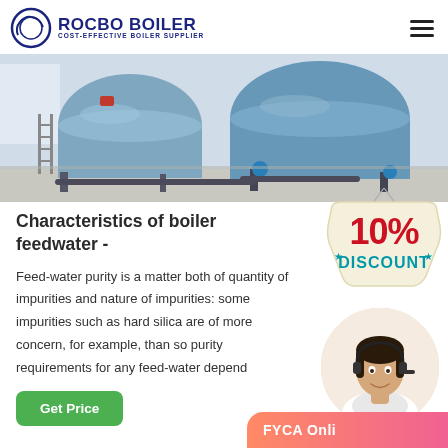[Figure (logo): Rocbo Boiler logo with circular arc graphic and text 'ROCBO BOILER - COST-EFFECTIVE BOILER SUPPLIER']
[Figure (photo): Industrial boiler equipment in a factory/plant setting, showing large blue cylindrical boilers with pipes and fittings on a concrete floor]
Characteristics of boiler feedwater -
[Figure (infographic): 10% DISCOUNT badge/sticker graphic with red bold text '10%' and teal bold text 'DISCOUNT' on a cream/tan background with hanging string effect]
Feed-water purity is a matter both of quantity of impurities and nature of impurities: some impurities such as hard silica are of more concern, for example, than so purity requirements for any feed-water depend
[Figure (photo): Customer service agent - smiling woman wearing a headset, circular cropped portrait]
[Figure (infographic): Partial pink/coral gradient banner at bottom right with text partially visible 'FYCA Onli...']